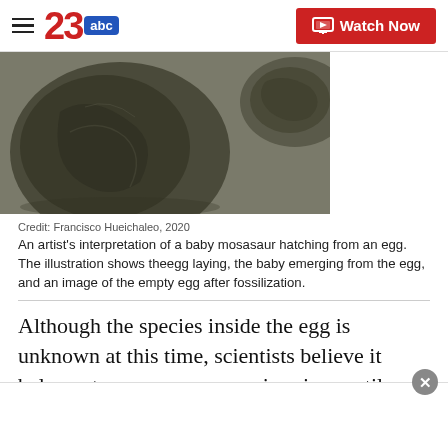23abc — Watch Now
[Figure (photo): Fossil mosasaur eggs — dark, leathery-looking fossilized eggs photographed against a neutral background. Two eggs visible, one large and one smaller.]
Credit: Francisco Hueichaleo, 2020
An artist's interpretation of a baby mosasaur hatching from an egg. The illustration shows theegg laying, the baby emerging from the egg, and an image of the empty egg after fossilization.
Although the species inside the egg is unknown at this time, scientists believe it belongs to a mosasaur, a swimming reptile, whose skeletal remains were found near the site of the egg. Measurements indicate the egg